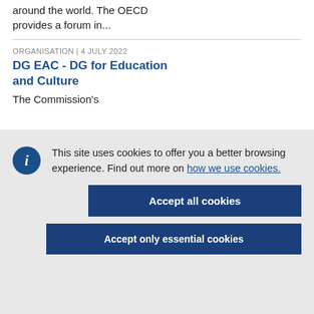around the world. The OECD provides a forum in...
ORGANISATION | 4 JULY 2022
DG EAC - DG for Education and Culture
The Commission's
This site uses cookies to offer you a better browsing experience. Find out more on how we use cookies.
Accept all cookies
Accept only essential cookies